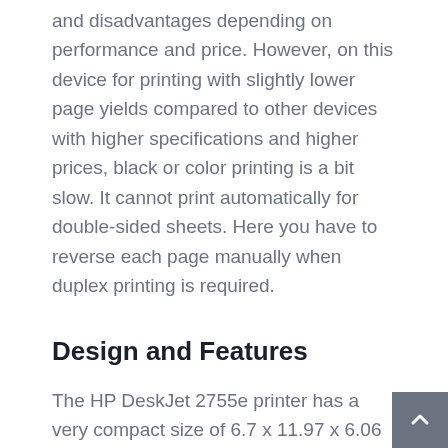and disadvantages depending on performance and price. However, on this device for printing with slightly lower page yields compared to other devices with higher specifications and higher prices, black or color printing is a bit slow. It cannot print automatically for double-sided sheets. Here you have to reverse each page manually when duplex printing is required.
Design and Features
The HP DeskJet 2755e printer has a very compact size of 6.7 x 11.97 x 6.06 inches, a rank smaller than desktop printers. You will have no trouble setting up this small printer on your desk next to your computer, either at home or work. At just 7.55 pounds, it's light enough and easy to move around the house or room when needed.